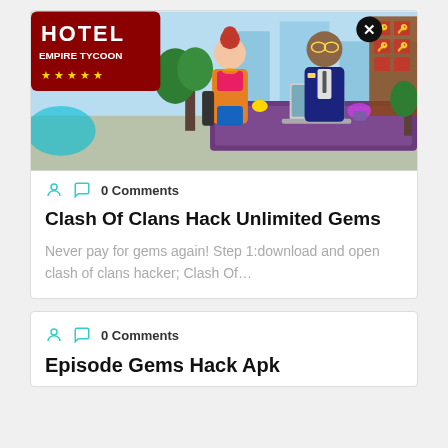[Figure (screenshot): Hotel Empire Tycoon game screenshot showing cartoon characters at hotel reception desk with a close (X) button overlay]
0 Comments
Clash Of Clans Hack Unlimited Gems
Never pay for gems again! Step 1:download and open clash of clans hacker; Clash Of...
0 Comments
Episode Gems Hack Apk